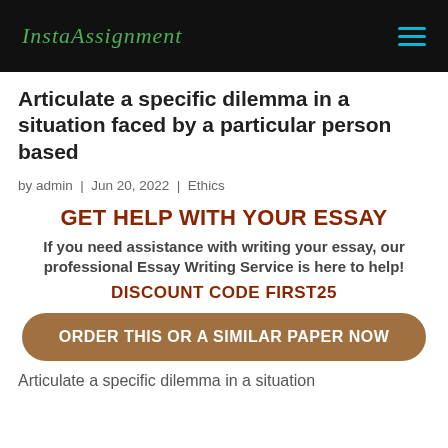InstaAssignment
Articulate a specific dilemma in a situation faced by a particular person based
by admin | Jun 20, 2022 | Ethics
GET HELP WITH YOUR ESSAY
If you need assistance with writing your essay, our professional Essay Writing Service is here to help!
DISCOUNT CODE FIRST25
ORDER THIS OR A SIMILAR PAPER NOW
Articulate a specific dilemma in a situation